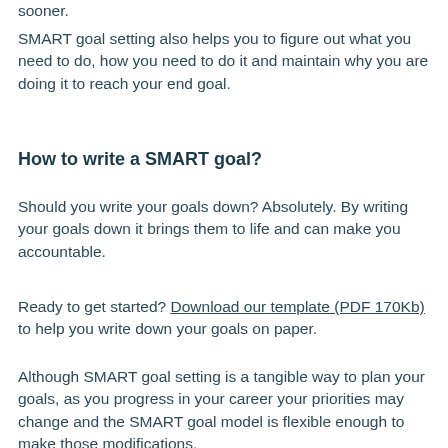sooner.
SMART goal setting also helps you to figure out what you need to do, how you need to do it and maintain why you are doing it to reach your end goal.
How to write a SMART goal?
Should you write your goals down? Absolutely. By writing your goals down it brings them to life and can make you accountable.
Ready to get started? Download our template (PDF 170Kb) to help you write down your goals on paper.
Although SMART goal setting is a tangible way to plan your goals, as you progress in your career your priorities may change and the SMART goal model is flexible enough to make those modifications.